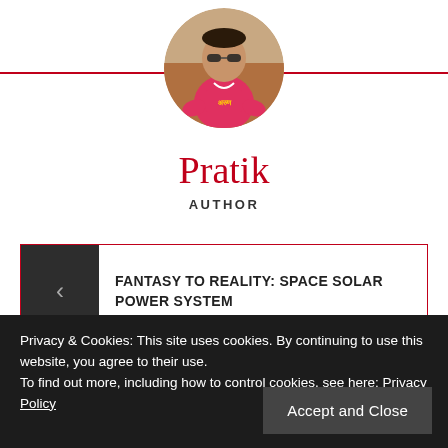[Figure (photo): Circular profile photo of a man wearing sunglasses and a pink/red t-shirt with Hindi text, standing outdoors]
Pratik
AUTHOR
FANTASY TO REALITY: SPACE SOLAR POWER SYSTEM
Privacy & Cookies: This site uses cookies. By continuing to use this website, you agree to their use.
To find out more, including how to control cookies, see here: Privacy Policy
Accept and Close